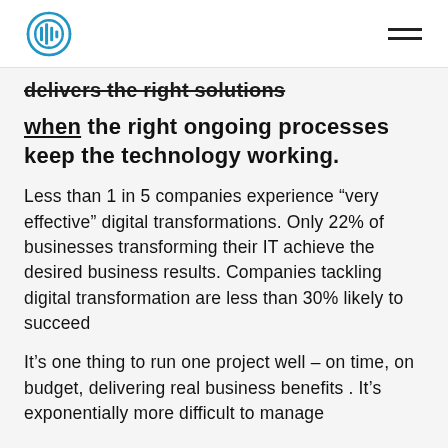[Logo] [Menu]
delivers the right solutions
when the right ongoing processes keep the technology working.
Less than 1 in 5 companies experience “very effective” digital transformations. Only 22% of businesses transforming their IT achieve the desired business results. Companies tackling digital transformation are less than 30% likely to succeed
It’s one thing to run one project well – on time, on budget, delivering real business benefits . It’s exponentially more difficult to manage